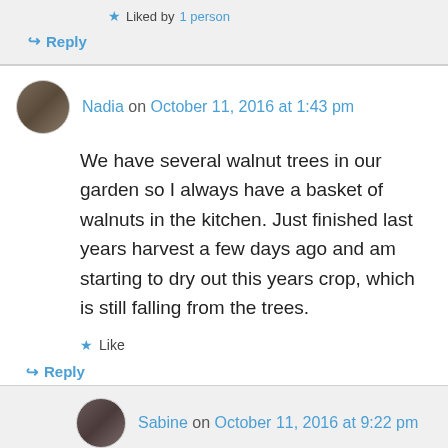★ Liked by 1 person
↪ Reply
Nadia on October 11, 2016 at 1:43 pm
We have several walnut trees in our garden so I always have a basket of walnuts in the kitchen. Just finished last years harvest a few days ago and am starting to dry out this years crop, which is still falling from the trees.
★ Like
↪ Reply
Sabine on October 11, 2016 at 9:22 pm